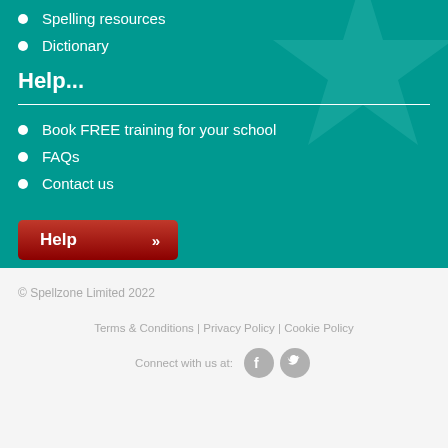Spelling resources
Dictionary
Help...
Book FREE training for your school
FAQs
Contact us
[Figure (other): Red Help button with chevron]
© Spellzone Limited 2022
Terms & Conditions | Privacy Policy | Cookie Policy
Connect with us at: [Facebook icon] [Twitter icon]